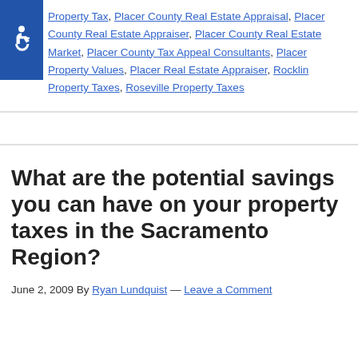Property Tax, Placer County Real Estate Appraisal, Placer County Real Estate Appraiser, Placer County Real Estate Market, Placer County Tax Appeal Consultants, Placer Property Values, Placer Real Estate Appraiser, Rocklin Property Taxes, Roseville Property Taxes
What are the potential savings you can have on your property taxes in the Sacramento Region?
June 2, 2009 By Ryan Lundquist — Leave a Comment